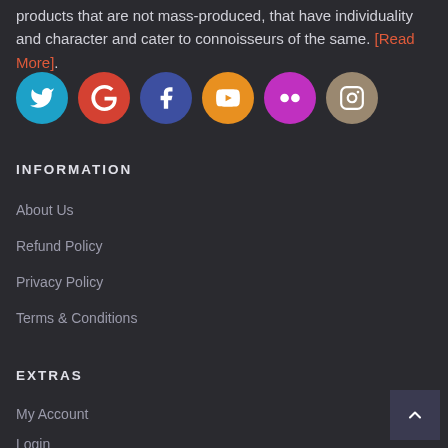products that are not mass-produced, that have individuality and character and cater to connoisseurs of the same. [Read More].
[Figure (illustration): Six social media icon circles: Twitter (cyan), Google+ (red), Facebook (blue), YouTube (orange), Flickr (magenta), Instagram (beige/tan)]
INFORMATION
About Us
Refund Policy
Privacy Policy
Terms & Conditions
EXTRAS
My Account
Login